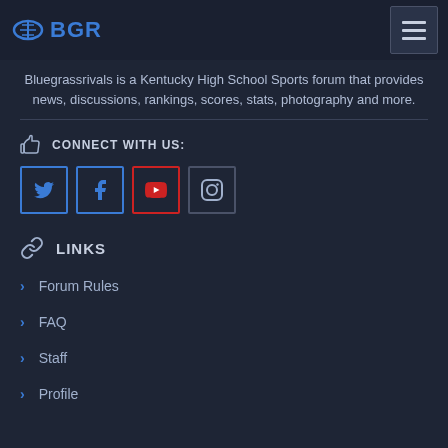BGR
Bluegrassrivals is a Kentucky High School Sports forum that provides news, discussions, rankings, scores, stats, photography and more.
CONNECT WITH US:
[Figure (other): Social media icon buttons for Twitter, Facebook, YouTube (red border), and Instagram]
LINKS
Forum Rules
FAQ
Staff
Profile